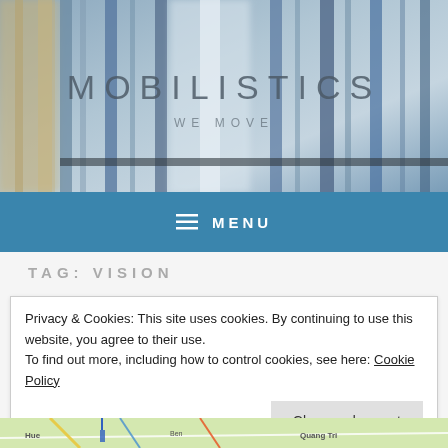[Figure (photo): Header background photo showing metal vertical bars/rails with blurred blue-grey background]
MOBILISTICS
WE MOVE
≡ MENU
TAG: VISION
Privacy & Cookies: This site uses cookies. By continuing to use this website, you agree to their use.
To find out more, including how to control cookies, see here: Cookie Policy
Close and accept
[Figure (map): Partial map visible at bottom of page showing street map with colored routes]